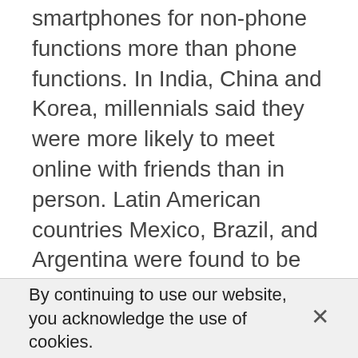smartphones for non-phone functions more than phone functions. In India, China and Korea, millennials said they were more likely to meet online with friends than in person. Latin American countries Mexico, Brazil, and Argentina were found to be the most Twitter-savvy countries by the Report and millenials in European countries were least likely to feel anxious about losing contact through smartphones.
By continuing to use our website, you acknowledge the use of cookies.